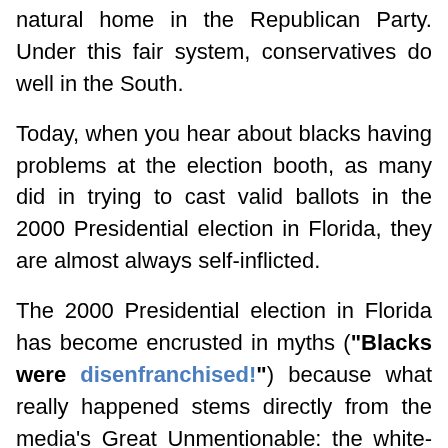natural home in the Republican Party. Under this fair system, conservatives do well in the South.
Today, when you hear about blacks having problems at the election booth, as many did in trying to cast valid ballots in the 2000 Presidential election in Florida, they are almost always self-inflicted.
The 2000 Presidential election in Florida has become encrusted in myths ("Blacks were disenfranchised!") because what really happened stems directly from the media's Great Unmentionable: the white-black IQ gap.
In Florida, more Gore supporters showed up to vote than Bush supporters. But as so often happens, the Democrats botched up their ballots, rendering them invalid, at a higher rate than the Republicans. Most unmentionably, Gore's biggest problem was that blacks, who voted for him by at least a 10-1 margins, were much more likely to make a hash of their ballots